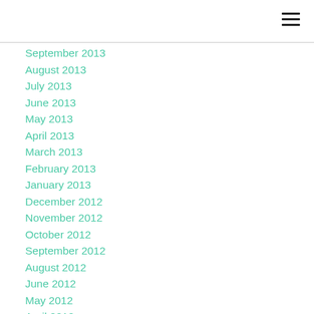≡
September 2013
August 2013
July 2013
June 2013
May 2013
April 2013
March 2013
February 2013
January 2013
December 2012
November 2012
October 2012
September 2012
August 2012
June 2012
May 2012
April 2012